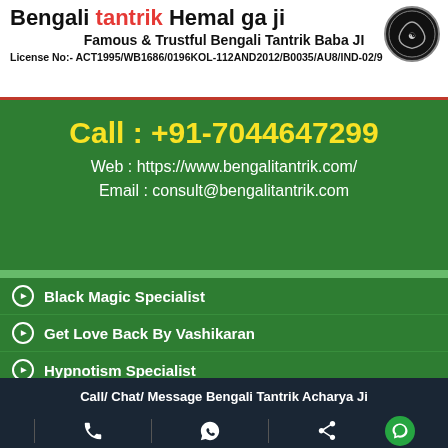Bengali Tantrik Hemal ga ji - Famous & Trustful Bengali Tantrik Baba JI - License No:- ACT1995/WB1686/0196KOL-112AND2012/B0035/AU8/IND-02/9
Call : +91-7044647299
Web : https://www.bengalitantrik.com/
Email : consult@bengalitantrik.com
Black Magic Specialist
Get Love Back By Vashikaran
Hypnotism Specialist
Kala Jadu
Call/ Chat/ Message Bengali Tantrik Acharya Ji